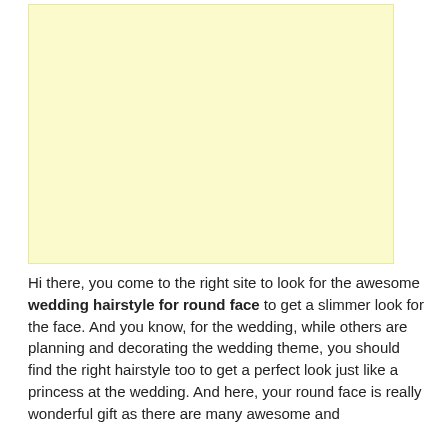[Figure (other): Light yellow advertisement placeholder block]
Hi there, you come to the right site to look for the awesome wedding hairstyle for round face to get a slimmer look for the face. And you know, for the wedding, while others are planning and decorating the wedding theme, you should find the right hairstyle too to get a perfect look just like a princess at the wedding. And here, your round face is really wonderful gift as there are many awesome and